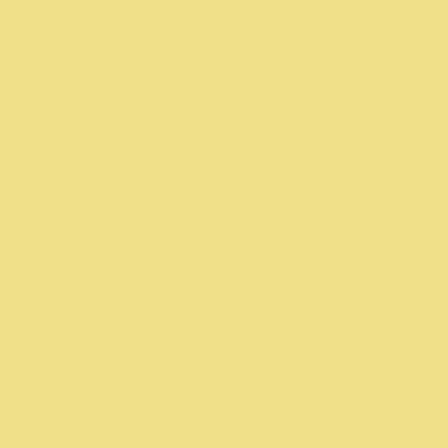pasted-on EYES! This is going to gi...
I can't blame those folks for making... that there are people out there who d... (wrong word, but you know what I m... photographs/photoillustrations. It is ... when I look at pictures...I want to se...
It reminds me of a portrait project di... off doing a five-print sequence of an... hired me basically rejected the finish... tucked into his BELT-LOOP. Pressed... in place, but somehow we all missed... You can't parody something like that... parody.
Urgh,
Mike
Posted by: Mike | Saturday, 04 August 2007 at 10:21 P...